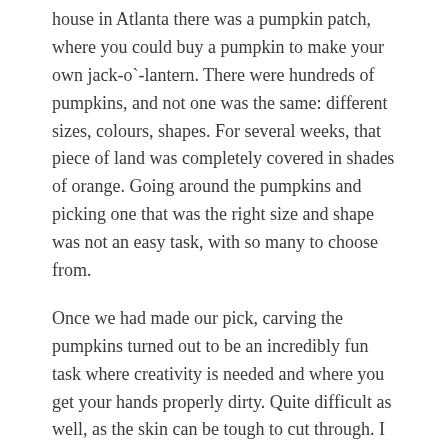house in Atlanta there was a pumpkin patch, where you could buy a pumpkin to make your own jack-o`-lantern. There were hundreds of pumpkins, and not one was the same: different sizes, colours, shapes. For several weeks, that piece of land was completely covered in shades of orange. Going around the pumpkins and picking one that was the right size and shape was not an easy task, with so many to choose from.
Once we had made our pick, carving the pumpkins turned out to be an incredibly fun task where creativity is needed and where you get your hands properly dirty. Quite difficult as well, as the skin can be tough to cut through. I discovered this later on again while cooking pumpkins: sometimes the cutting is the real challenge. Unfortunately our pumpkins for the lanterns had more seeds than flesh, so no pumpkin dinner after. But we did have great decorations of course!